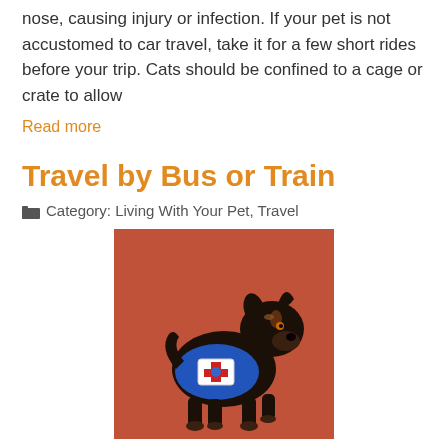nose, causing injury or infection. If your pet is not accustomed to car travel, take it for a few short rides before your trip. Cats should be confined to a cage or crate to allow
Read more
Travel by Bus or Train
Category: Living With Your Pet, Travel
[Figure (photo): A small black and brown dog wearing a blue service animal vest with a medical symbol badge, standing on a red/brown surface.]
Most states prohibit animals from riding on buses and similar regulations restrict travel on trains. Exceptions are made for guide and service dogs accompanying blind and disabled persons. Consult your local carriers in advance for information.